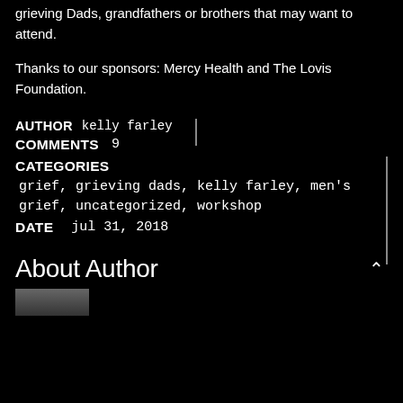grieving Dads, grandfathers or brothers that may want to attend.
Thanks to our sponsors: Mercy Health and The Lovis Foundation.
AUTHOR  kelly farley
COMMENTS  9
CATEGORIES  grief, grieving dads, kelly farley, men's grief, uncategorized, workshop
DATE  jul 31, 2018
About Author